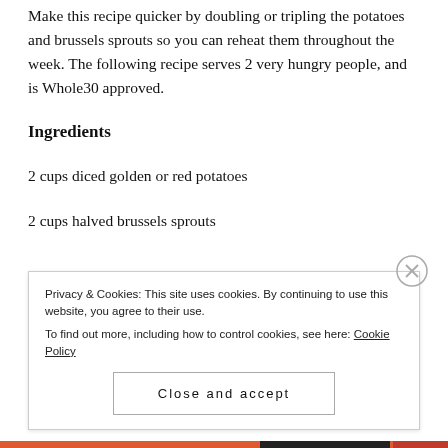Make this recipe quicker by doubling or tripling the potatoes and brussels sprouts so you can reheat them throughout the week. The following recipe serves 2 very hungry people, and is Whole30 approved.
Ingredients
2 cups diced golden or red potatoes
2 cups halved brussels sprouts
Privacy & Cookies: This site uses cookies. By continuing to use this website, you agree to their use.
To find out more, including how to control cookies, see here: Cookie Policy
Close and accept